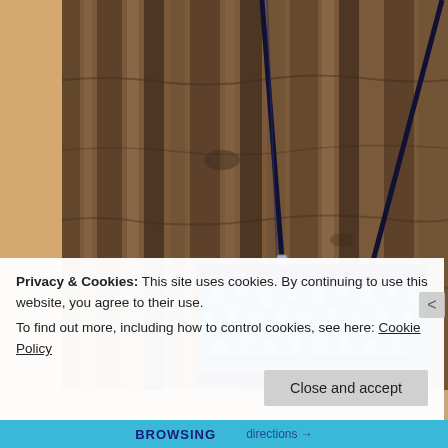[Figure (photo): A blue patterned crossbody bag with paisley/floral design hanging against rough tree bark. The bag has a dark navy strap and a zipper. Left side shows a tan/beige textured background.]
Privacy & Cookies: This site uses cookies. By continuing to use this website, you agree to their use.
To find out more, including how to control cookies, see here: Cookie Policy
Close and accept